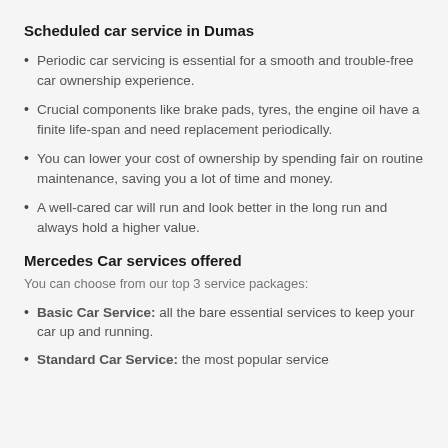Scheduled car service in Dumas
Periodic car servicing is essential for a smooth and trouble-free car ownership experience.
Crucial components like brake pads, tyres, the engine oil have a finite life-span and need replacement periodically.
You can lower your cost of ownership by spending fair on routine maintenance, saving you a lot of time and money.
A well-cared car will run and look better in the long run and always hold a higher value.
Mercedes Car services offered
You can choose from our top 3 service packages:
Basic Car Service: all the bare essential services to keep your car up and running.
Standard Car Service: the most popular service